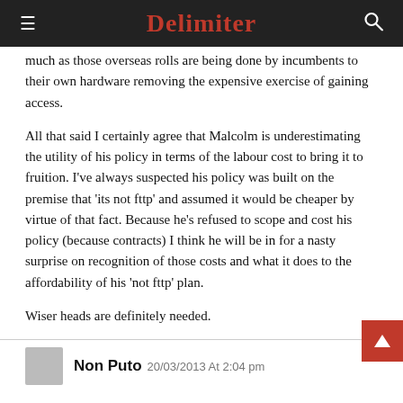Delimiter
much as those overseas rolls are being done by incumbents to their own hardware removing the expensive exercise of gaining access.

All that said I certainly agree that Malcolm is underestimating the utility of his policy in terms of the labour cost to bring it to fruition. I've always suspected his policy was built on the premise that 'its not fttp' and assumed it would be cheaper by virtue of that fact. Because he's refused to scope and cost his policy (because contracts) I think he will be in for a nasty surprise on recognition of those costs and what it does to the affordability of his 'not fttp' plan.

Wiser heads are definitely needed.
Non Puto 20/03/2013 At 2:04 pm